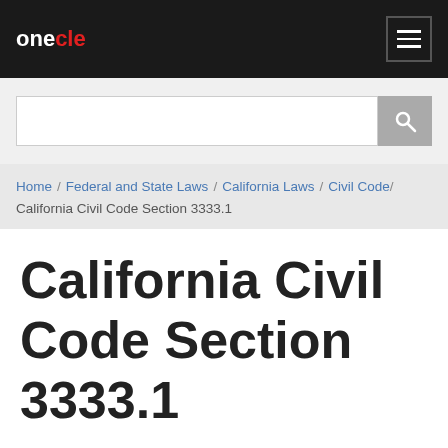onecle
Home / Federal and State Laws / California Laws / Civil Code / California Civil Code Section 3333.1
California Civil Code Section 3333.1